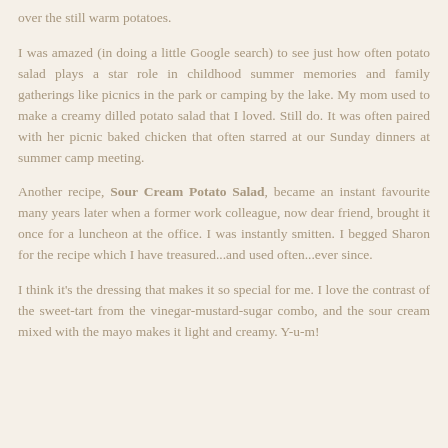over the still warm potatoes.
I was amazed (in doing a little Google search) to see just how often potato salad plays a star role in childhood summer memories and family gatherings like picnics in the park or camping by the lake. My mom used to make a creamy dilled potato salad that I loved. Still do. It was often paired with her picnic baked chicken that often starred at our Sunday dinners at summer camp meeting.
Another recipe, Sour Cream Potato Salad, became an instant favourite many years later when a former work colleague, now dear friend, brought it once for a luncheon at the office. I was instantly smitten. I begged Sharon for the recipe which I have treasured...and used often...ever since.
I think it's the dressing that makes it so special for me. I love the contrast of the sweet-tart from the vinegar-mustard-sugar combo, and the sour cream mixed with the mayo makes it light and creamy. Y-u-m!